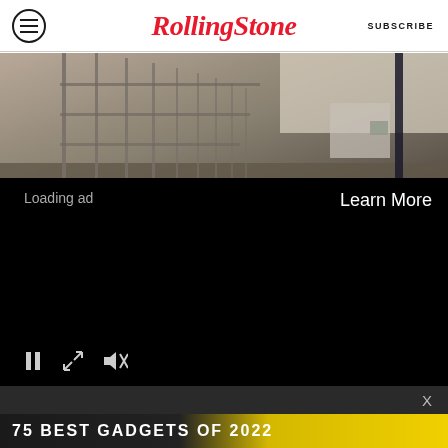RollingStone | SUBSCRIBE
[Figure (photo): Row of metal animal shelter cages/kennels in a corridor with white walls, viewed in perspective.]
[Figure (screenshot): Video player overlay showing black screen with 'Loading ad' text on left and 'Learn More' button on right, with pause, expand, and mute controls at bottom.]
[Figure (photo): Bottom advertisement banner reading '75 BEST GADGETS OF 2022' in bold white text on dark background with yellow accent.]